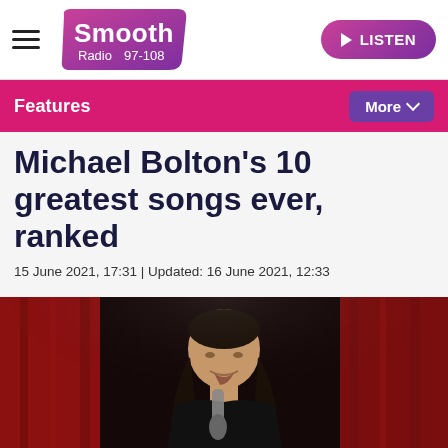Smooth Radio 97-108 | LISTEN
Features | More
Michael Bolton's 10 greatest songs ever, ranked
15 June 2021, 17:31 | Updated: 16 June 2021, 12:33
[Figure (photo): Michael Bolton performing on stage, holding a microphone close to his mouth, with long dark hair, against a dark red curtain background.]